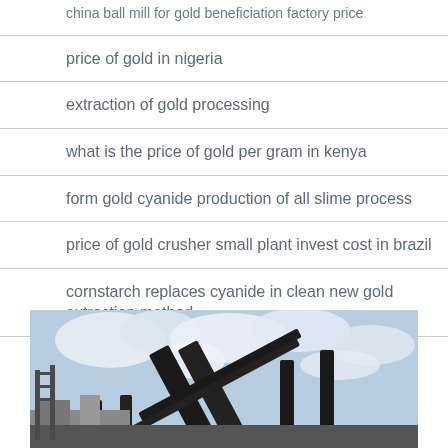china ball mill for gold beneficiation factory price
price of gold in nigeria
extraction of gold processing
what is the price of gold per gram in kenya
form gold cyanide production of all slime process
price of gold crusher small plant invest cost in brazil
cornstarch replaces cyanide in clean new gold extraction method
properties of lixiviants used for gold extraction
[Figure (photo): Industrial conveyor belts and mining equipment against a partly cloudy sky background]